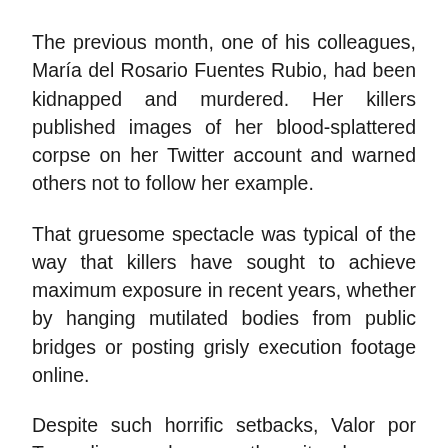The previous month, one of his colleagues, María del Rosario Fuentes Rubio, had been kidnapped and murdered. Her killers published images of her blood-splattered corpse on her Twitter account and warned others not to follow her example.
That gruesome spectacle was typical of the way that killers have sought to achieve maximum exposure in recent years, whether by hanging mutilated bodies from public bridges or posting grisly execution footage online.
Despite such horrific setbacks, Valor por Tamaulipas and many other sites keep on bravely publishing the latest gory news. But with little protection from authorities that are either unwilling or incapable of guaranteeing their safety, the future looks bleak for Mexican bloggers and